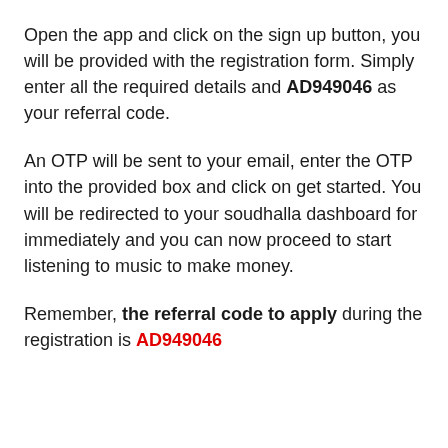Open the app and click on the sign up button, you will be provided with the registration form. Simply enter all the required details and AD949046 as your referral code.
An OTP will be sent to your email, enter the OTP into the provided box and click on get started. You will be redirected to your soudhalla dashboard for immediately and you can now proceed to start listening to music to make money.
Remember, the referral code to apply during the registration is AD949046